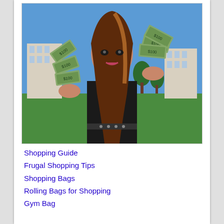[Figure (photo): Young woman holding fans of US dollar bills in both hands, wearing a black top, standing outdoors with grass and a building in the background.]
Shopping Guide
Frugal Shopping Tips
Shopping Bags
Rolling Bags for Shopping
Gym Bag